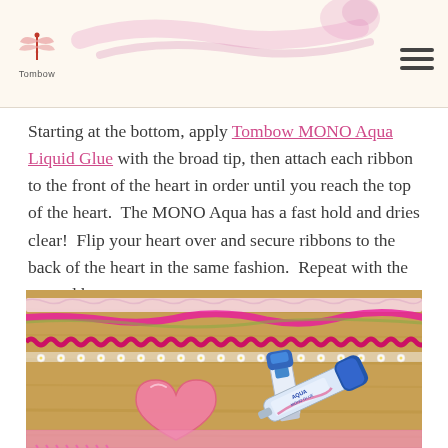Tombow
Starting at the bottom, apply Tombow MONO Aqua Liquid Glue with the broad tip, then attach each ribbon to the front of the heart in order until you reach the top of the heart.  The MONO Aqua has a fast hold and dries clear!  Flip your heart over and secure ribbons to the back of the heart in the same fashion.  Repeat with the second heart.
[Figure (photo): Photo showing pink heart-shaped craft object on a wooden surface surrounded by colorful ribbons and trims (pink lace, hot pink ric-rac, floral trim, yarn), with Tombow MONO Aqua Liquid Glue bottles visible.]